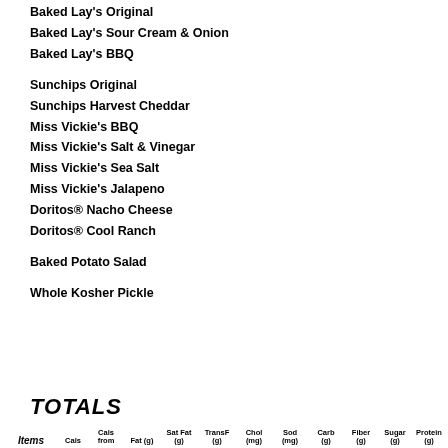Baked Lay's Original
Baked Lay's Sour Cream & Onion
Baked Lay's BBQ
Sunchips Original
Sunchips Harvest Cheddar
Miss Vickie's BBQ
Miss Vickie's Salt & Vinegar
Miss Vickie's Sea Salt
Miss Vickie's Jalapeno
Doritos® Nacho Cheese
Doritos® Cool Ranch
Baked Potato Salad
Whole Kosher Pickle
TOTALS
| Items | Cals | Cals from | Fat (g) | Sat Fat (g) | TransF (g) | Chol (mg) | Sod (mg) | Carb (g) | Fiber (g) | Sugar (g) | Protein (g) |
| --- | --- | --- | --- | --- | --- | --- | --- | --- | --- | --- | --- |